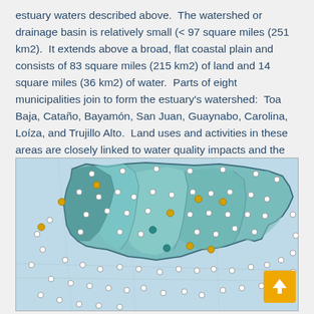estuary waters described above.  The watershed or drainage basin is relatively small (< 97 square miles (251 km2).  It extends above a broad, flat coastal plain and consists of 83 square miles (215 km2) of land and 14 square miles (36 km2) of water.  Parts of eight municipalities join to form the estuary's watershed:  Toa Baja, Cataño, Bayamón, San Juan, Guaynabo, Carolina, Loíza, and Trujillo Alto.  Land uses and activities in these areas are closely linked to water quality impacts and the degradation of habitat in the estuary.
[Figure (map): Map of the San Juan Bay Estuary watershed showing municipal boundaries, watershed boundary, and monitoring points (white, yellow/gold, and teal colored dots) across the municipalities of Toa Baja, Cataño, Bayamón, San Juan, Guaynabo, Carolina, Loíza, and Trujillo Alto in Puerto Rico. The watershed is shown in teal/green shading with darker and lighter areas indicating different sub-watersheds. A scroll-up button (gold/orange) is visible in the bottom right corner.]